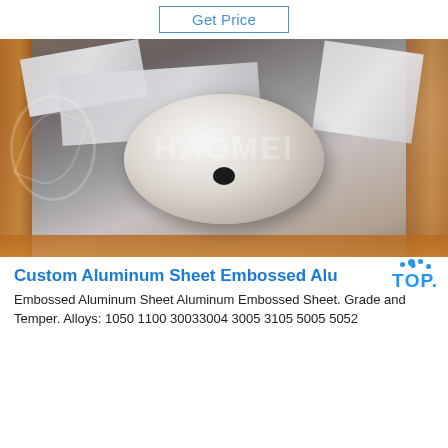[Figure (other): Button labeled 'Get Price' with blue border]
[Figure (photo): Photo of packaged aluminum rolls and sheets in a wooden crate, with HAOMEI watermark overlay]
Custom Aluminum Sheet Embossed Alu
Embossed Aluminum Sheet Aluminum Embossed Sheet. Grade and Temper. Alloys: 1050 1100 30033004 3005 3105 5005 5052